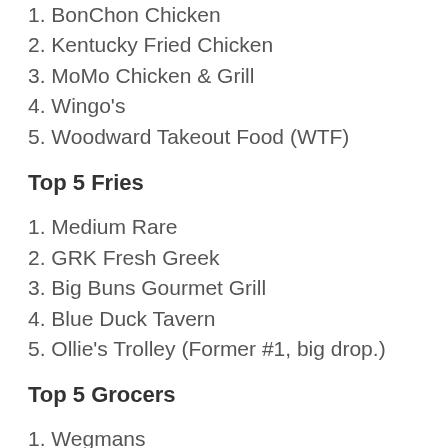1. BonChon Chicken
2. Kentucky Fried Chicken
3. MoMo Chicken & Grill
4. Wingo's
5. Woodward Takeout Food (WTF)
Top 5 Fries
1. Medium Rare
2. GRK Fresh Greek
3. Big Buns Gourmet Grill
4. Blue Duck Tavern
5. Ollie's Trolley (Former #1, big drop.)
Top 5 Grocers
1. Wegmans
2. Trader Joe's
3. Giant Food
4. Safeway
5. Whole Foods